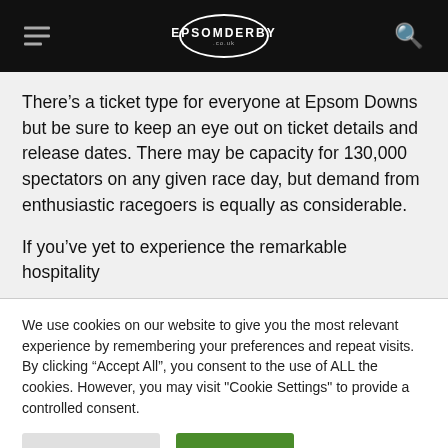EPSOM DERBY
There’s a ticket type for everyone at Epsom Downs but be sure to keep an eye out on ticket details and release dates. There may be capacity for 130,000 spectators on any given race day, but demand from enthusiastic racegoers is equally as considerable.
If you’ve yet to experience the remarkable hospitality
We use cookies on our website to give you the most relevant experience by remembering your preferences and repeat visits. By clicking “Accept All”, you consent to the use of ALL the cookies. However, you may visit "Cookie Settings" to provide a controlled consent.